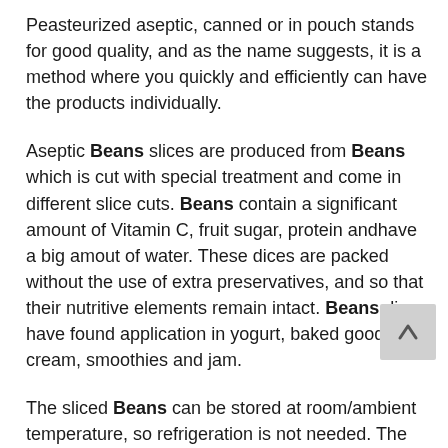Peasteurized aseptic, canned or in pouch stands for good quality, and as the name suggests, it is a method where you quickly and efficiently can have the products individually.
Aseptic Beans slices are produced from Beans which is cut with special treatment and come in different slice cuts. Beans contain a significant amount of Vitamin C, fruit sugar, protein andhave a big amout of water. These dices are packed without the use of extra preservatives, and so that their nutritive elements remain intact. Beans dices have found application in yogurt, baked goods, ice cream, smoothies and jam.
The sliced Beans can be stored at room/ambient temperature, so refrigeration is not needed. The Beans is prepared from clean, healthy